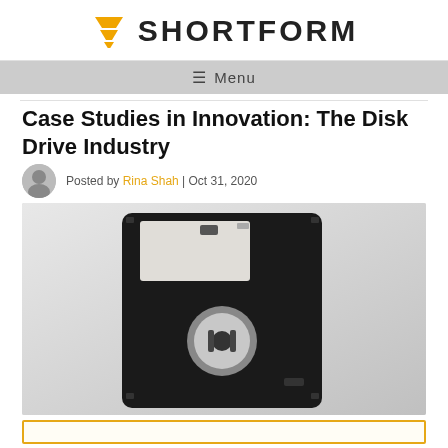SHORTFORM
≡ Menu
Case Studies in Innovation: The Disk Drive Industry
Posted by Rina Shah | Oct 31, 2020
[Figure (photo): A black 3.5-inch floppy disk on a light gray background, photographed at a slight angle showing the front label area and circular hub.]